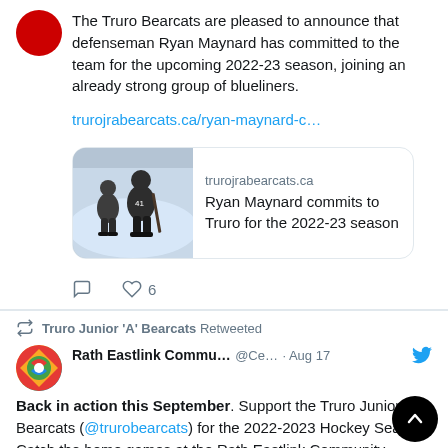The Truro Bearcats are pleased to announce that defenseman Ryan Maynard has committed to the team for the upcoming 2022-23 season, joining an already strong group of blueliners.
trurojrabearcats.ca/ryan-maynard-c…
[Figure (screenshot): Link card preview: hockey player on ice, domain trurojrabearcats.ca, title 'Ryan Maynard commits to Truro for the 2022-23 season']
Truro Junior 'A' Bearcats Retweeted
Rath Eastlink Commu… @Ce… · Aug 17
Back in action this September. Support the Truro Junior 'A' Bearcats (@trurobearcats) for the 2022-2023 Hockey Season. Catch the home games at the Rath Eastlink Community Centre @CentreRath

Tickets on sale at …